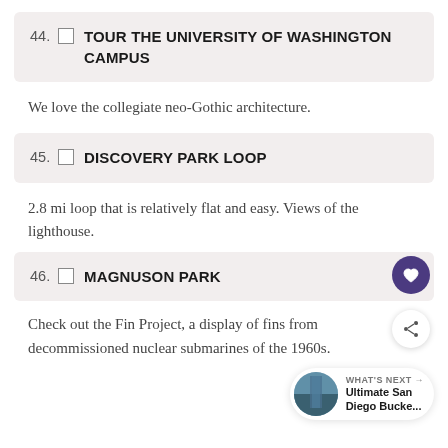44. TOUR THE UNIVERSITY OF WASHINGTON CAMPUS
We love the collegiate neo-Gothic architecture.
45. DISCOVERY PARK LOOP
2.8 mi loop that is relatively flat and easy. Views of the lighthouse.
46. MAGNUSON PARK
Check out the Fin Project, a display of fins from decommissioned nuclear submarines of the 1960s.